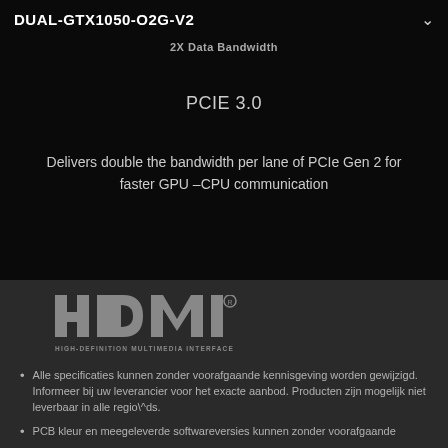DUAL-GTX1050-O2G-V2
2X Data Bandwidth
PCIE 3.0
Delivers double the bandwidth per lane of PCIe Gen 2 for faster GPU –CPU communication
[Figure (logo): HDMI logo with text HIGH-DEFINITION MULTIMEDIA INTERFACE]
Alle specificaties kunnen zonder voorafgaande kennisgeving worden gewijzigd. Informeer bij uw leverancier voor het exacte aanbod. Producten zijn mogelijk niet leverbaar in alle regio\^ds.
PCB kleur en meegeleverde softwareversies kunnen zonder voorafgaande